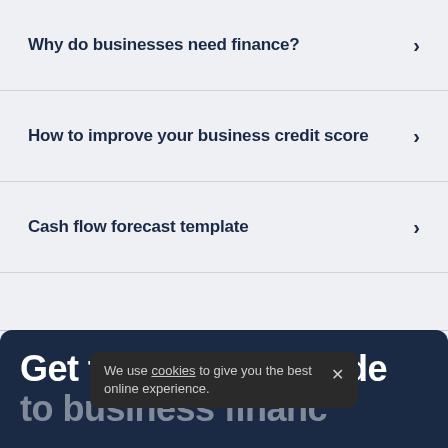Why do businesses need finance?
How to improve your business credit score
Cash flow forecast template
We use cookies to give you the best online experience.
Get the ultimate guide to business finance